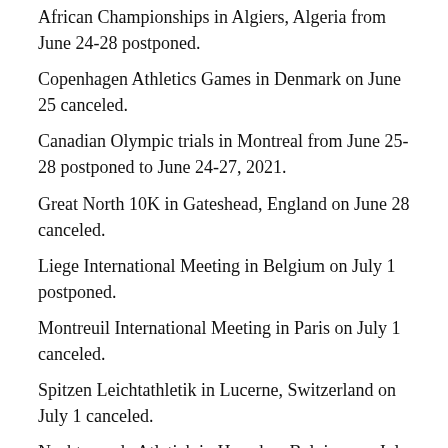African Championships in Algiers, Algeria from June 24-28 postponed.
Copenhagen Athletics Games in Denmark on June 25 canceled.
Canadian Olympic trials in Montreal from June 25-28 postponed to June 24-27, 2021.
Great North 10K in Gateshead, England on June 28 canceled.
Liege International Meeting in Belgium on July 1 postponed.
Montreuil International Meeting in Paris on July 1 canceled.
Spitzen Leichtathletik in Lucerne, Switzerland on July 1 canceled.
Nacht van de Atletiek in Heusden, Belgium on July 4 postponed to Sept. 6.